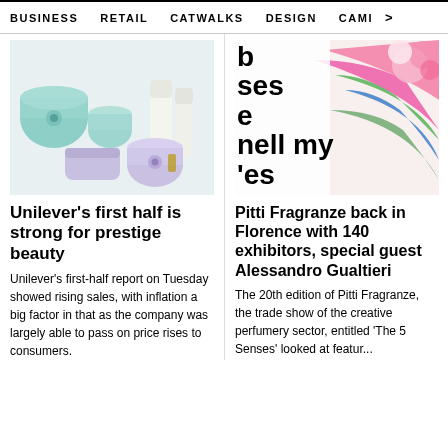BUSINESS  RETAIL  CATWALKS  DESIGN  CAMI  >
[Figure (photo): Tatcha skincare products arranged on a light background — teal/mint and lavender jars, bottles, and tubes]
[Figure (photo): Partially visible text overlay reading 'b ses e nell my es' over an image of colorful paint strokes with pink flowers]
Unilever's first half is strong for prestige beauty
Pitti Fragranze back in Florence with 140 exhibitors, special guest Alessandro Gualtieri
Unilever's first-half report on Tuesday showed rising sales, with inflation a big factor in that as the company was largely able to pass on price rises to consumers.
The 20th edition of Pitti Fragranze, the trade show of the creative perfumery sector, entitled 'The 5 Senses' looked at featur...